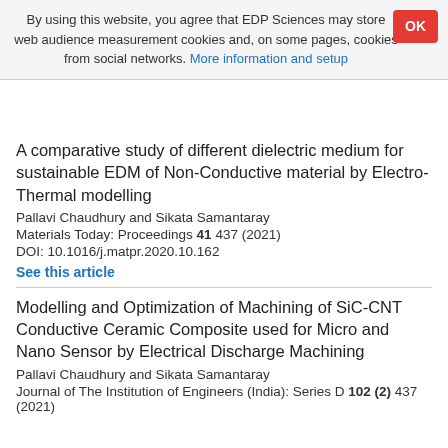By using this website, you agree that EDP Sciences may store web audience measurement cookies and, on some pages, cookies from social networks. More information and setup
A comparative study of different dielectric medium for sustainable EDM of Non-Conductive material by Electro-Thermal modelling
Pallavi Chaudhury and Sikata Samantaray
Materials Today: Proceedings 41 437 (2021)
DOI: 10.1016/j.matpr.2020.10.162
See this article
Modelling and Optimization of Machining of SiC-CNT Conductive Ceramic Composite used for Micro and Nano Sensor by Electrical Discharge Machining
Pallavi Chaudhury and Sikata Samantaray
Journal of The Institution of Engineers (India): Series D 102 (2) 437 (2021)